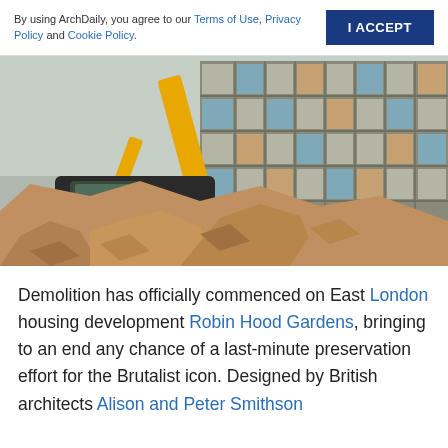By using ArchDaily, you agree to our Terms of Use, Privacy Policy and Cookie Policy.  I ACCEPT
[Figure (photo): Yellow excavator demolishing a Brutalist concrete housing block, with a large pile of rubble in the foreground. The building has a grid-like facade with multiple floors and windows, some covered with boards.]
Demolition has officially commenced on East London housing development Robin Hood Gardens, bringing to an end any chance of a last-minute preservation effort for the Brutalist icon. Designed by British architects Alison and Peter Smithson